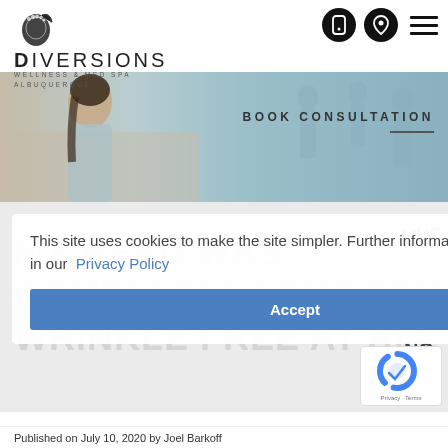[Figure (logo): DiVERSIONS Wellness & Med Spa Albuquerque logo with decorative icon]
[Figure (infographic): Phone icon circle, location pin icon circle, and hamburger menu icon in header]
[Figure (photo): Hero banner photo of smiling woman with BOOK CONSULTATION text overlay]
This site uses cookies to make the site simpler. Further information is provided in our Privacy Policy
Accept
s at all"
NO
MY HEAD WAS COMPLETELY SMOOTH, WRINKLE FREE AT ALL
Published on July 10, 2020 by Joel Barkoff